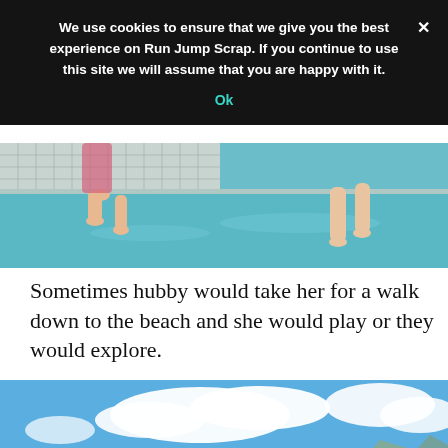We use cookies to ensure that we give you the best experience on Run Jump Scrap. If you continue to use this site we will assume that you are happy with it.
Ok
[Figure (photo): Two people's legs/feet at the edge of a swimming pool with blue tiled water]
Sometimes hubby would take her for a walk down to the beach and she would play or they would explore.
[Figure (photo): A young girl with braided hair wearing a pink outfit standing at the edge of the sea, looking out at turquoise water with mountains and cloudy blue sky in the background]